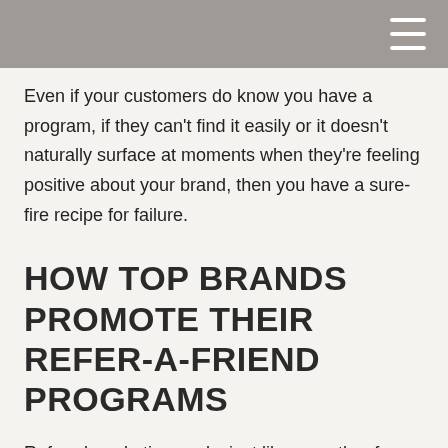Even if your customers do know you have a program, if they can't find it easily or it doesn't naturally surface at moments when they're feeling positive about your brand, then you have a sure-fire recipe for failure.
HOW TOP BRANDS PROMOTE THEIR REFER-A-FRIEND PROGRAMS
Referral marketing works just like any other form of marketing: via a